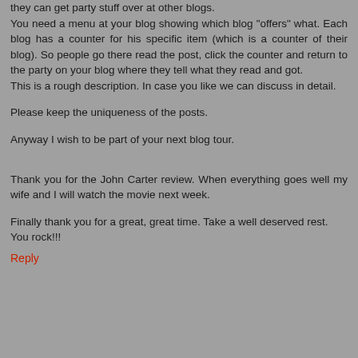they can get party stuff over at other blogs. You need a menu at your blog showing which blog "offers" what. Each blog has a counter for his specific item (which is a counter of their blog). So people go there read the post, click the counter and return to the party on your blog where they tell what they read and got. This is a rough description. In case you like we can discuss in detail.
Please keep the uniqueness of the posts.
Anyway I wish to be part of your next blog tour.
Thank you for the John Carter review. When everything goes well my wife and I will watch the movie next week.
Finally thank you for a great, great time. Take a well deserved rest.
You rock!!!
Reply